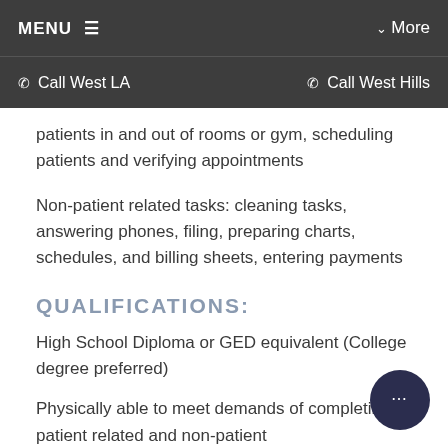MENU ≡   ∨ More
☎ Call West LA   ☎ Call West Hills
patients in and out of rooms or gym, scheduling patients and verifying appointments
Non-patient related tasks: cleaning tasks, answering phones, filing, preparing charts, schedules, and billing sheets, entering payments
QUALIFICATIONS:
High School Diploma or GED equivalent (College degree preferred)
Physically able to meet demands of completing patient related and non-patient